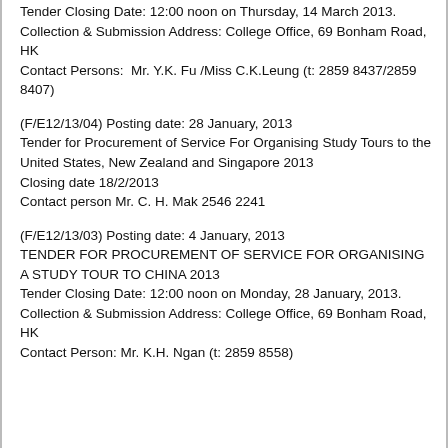Tender Closing Date: 12:00 noon on Thursday, 14 March 2013.
Collection & Submission Address: College Office, 69 Bonham Road, HK
Contact Persons:  Mr. Y.K. Fu /Miss C.K.Leung (t: 2859 8437/2859 8407)
(F/E12/13/04) Posting date: 28 January, 2013
Tender for Procurement of Service For Organising Study Tours to the United States, New Zealand and Singapore 2013
Closing date 18/2/2013
Contact person Mr. C. H. Mak 2546 2241
(F/E12/13/03) Posting date: 4 January, 2013
TENDER FOR PROCUREMENT OF SERVICE FOR ORGANISING A STUDY TOUR TO CHINA 2013
Tender Closing Date: 12:00 noon on Monday, 28 January, 2013.
Collection & Submission Address: College Office, 69 Bonham Road, HK
Contact Person: Mr. K.H. Ngan (t: 2859 8558)